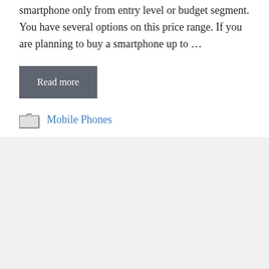smartphone only from entry level or budget segment. You have several options on this price range. If you are planning to buy a smartphone up to …
Read more
Mobile Phones